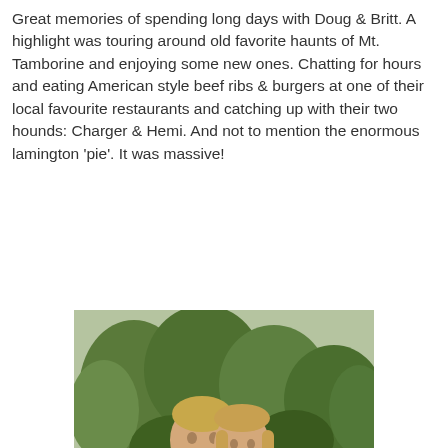Great memories of spending long days with Doug & Britt. A highlight was touring around old favorite haunts of Mt. Tamborine and enjoying some new ones. Chatting for hours and eating American style beef ribs & burgers at one of their local favourite restaurants and catching up with their two hounds: Charger & Hemi. And not to mention the enormous lamington 'pie'. It was massive!
[Figure (photo): A couple embracing outdoors near a rocky creek with green trees and foliage in the background. The man is wearing a dark red/maroon t-shirt with a graphic print, and the woman is wearing a black and white striped sleeveless top.]